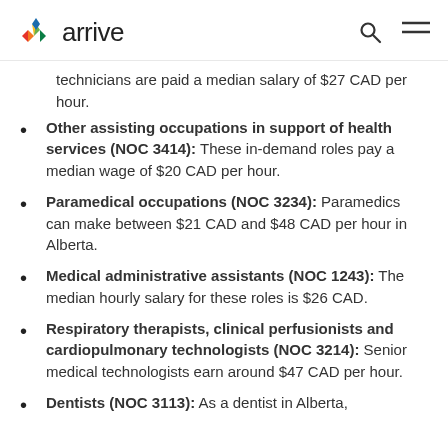arrive
technicians are paid a median salary of $27 CAD per hour.
Other assisting occupations in support of health services (NOC 3414): These in-demand roles pay a median wage of $20 CAD per hour.
Paramedical occupations (NOC 3234): Paramedics can make between $21 CAD and $48 CAD per hour in Alberta.
Medical administrative assistants (NOC 1243): The median hourly salary for these roles is $26 CAD.
Respiratory therapists, clinical perfusionists and cardiopulmonary technologists (NOC 3214): Senior medical technologists earn around $47 CAD per hour.
Dentists (NOC 3113): As a dentist in Alberta,